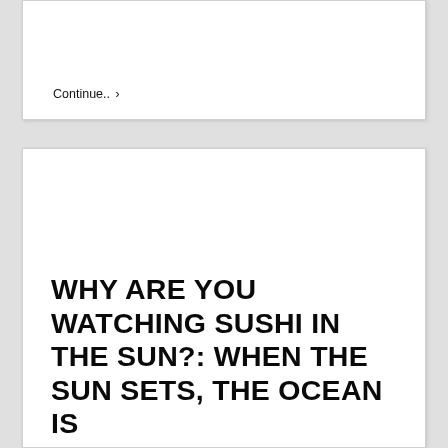Continue.. ›
WHY ARE YOU WATCHING SUSHI IN THE SUN?: WHEN THE SUN SETS, THE OCEAN IS